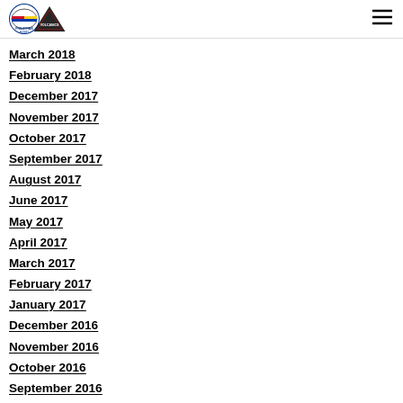Philippine Rugby Association
March 2018
February 2018
December 2017
November 2017
October 2017
September 2017
August 2017
June 2017
May 2017
April 2017
March 2017
February 2017
January 2017
December 2016
November 2016
October 2016
September 2016